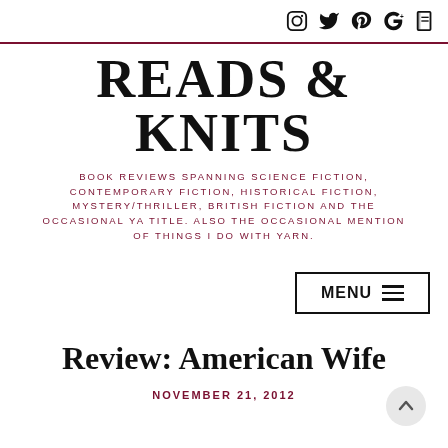Social icons: Instagram, Twitter, Pinterest, Google+, Bloglovin
READS & KNITS
BOOK REVIEWS SPANNING SCIENCE FICTION, CONTEMPORARY FICTION, HISTORICAL FICTION, MYSTERY/THRILLER, BRITISH FICTION AND THE OCCASIONAL YA TITLE. ALSO THE OCCASIONAL MENTION OF THINGS I DO WITH YARN.
MENU
Review: American Wife
NOVEMBER 21, 2012